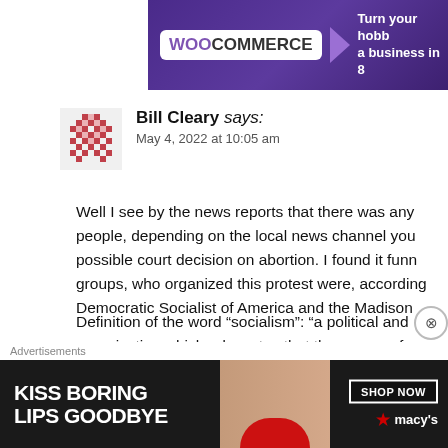[Figure (screenshot): WooCommerce advertisement banner with purple background, WooCommerce logo, triangle graphic, and text 'Turn your hobby into a business in 8']
Bill Cleary says:
May 4, 2022 at 10:05 am
Well I see by the news reports that there was any people, depending on the local news channel you possible court decision on abortion. I found it funn groups, who organized this protest were, according Democratic Socialist of America and the Madison
Definition of the word “socialism”: “a political and organization which advocates that the means of p exchange should be owned or regulated by the so
Advertisements
[Figure (photo): Macy's advertisement: 'KISS BORING LIPS GOODBYE' with woman's face and red lips, SHOP NOW button, Macy's star logo]